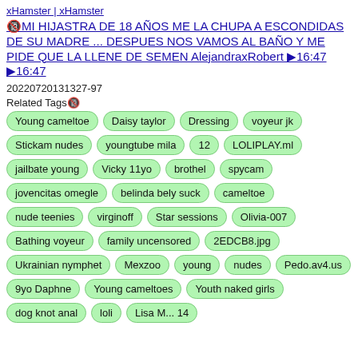xHamster | xHamster
🔞MI HIJASTRA DE 18 AÑOS ME LA CHUPA A ESCONDIDAS DE SU MADRE ... DESPUES NOS VAMOS AL BAÑO Y ME PIDE QUE LA LLENE DE SEMEN AlejandraxRobert ▶16:47 ▶16:47
20220720131327-97
Related Tags🔞
Young cameltoe
Daisy taylor
Dressing
voyeur jk
Stickam nudes
youngtube mila
12
LOLIPLAY.ml
jailbate young
Vicky 11yo
brothel
spycam
jovencitas omegle
belinda bely suck
cameltoe
nude teenies
virginoff
Star sessions
Olivia-007
Bathing voyeur
family uncensored
2EDCB8.jpg
Ukrainian nymphet
Mexzoo
young
nudes
Pedo.av4.us
9yo Daphne
Young cameltoes
Youth naked girls
dog knot anal
loli
Lisa M... 14